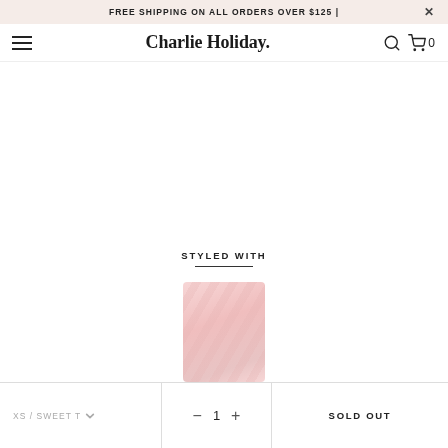FREE SHIPPING ON ALL ORDERS OVER $125 |
Charlie Holiday.
STYLED WITH
[Figure (photo): Pink floral patterned garment product image preview]
XS / SWEET TV
1
SOLD OUT